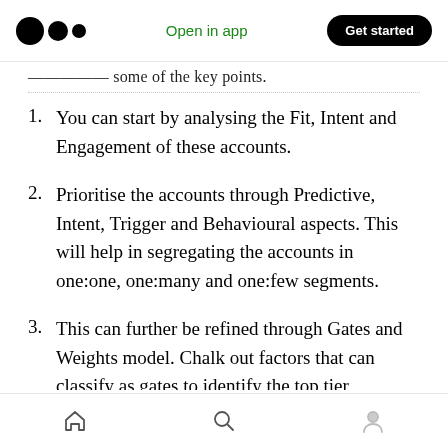Open in app | Get started
assigned some of the key points.
1. You can start by analysing the Fit, Intent and Engagement of these accounts.
2. Prioritise the accounts through Predictive, Intent, Trigger and Behavioural aspects. This will help in segregating the accounts in one:one, one:many and one:few segments.
3. This can further be refined through Gates and Weights model. Chalk out factors that can classify as gates to identify the top tier accounts and so on. Weights can be assigned
Home | Search | Profile